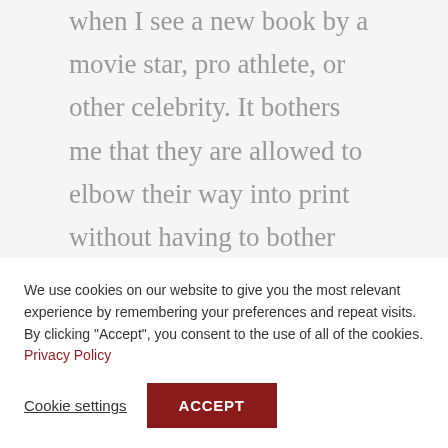when I see a new book by a movie star, pro athlete, or other celebrity. It bothers me that they are allowed to elbow their way into print without having to bother with the more mundane details of writing, such as, say, learning the craft. They have *people*
We use cookies on our website to give you the most relevant experience by remembering your preferences and repeat visits. By clicking “Accept”, you consent to the use of all of the cookies. Privacy Policy
Cookie settings
ACCEPT